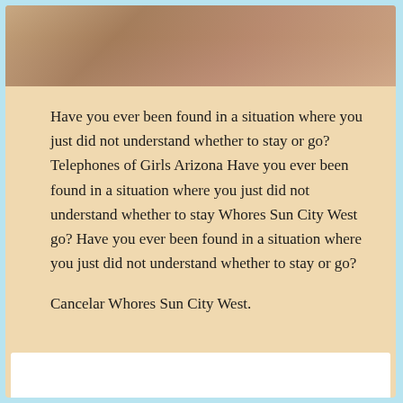[Figure (photo): Partial view of a photo at the top of the card]
Have you ever been found in a situation where you just did not understand whether to stay or go? Telephones of Girls Arizona Have you ever been found in a situation where you just did not understand whether to stay Whores Sun City West go? Have you ever been found in a situation where you just did not understand whether to stay or go?
Cancelar Whores Sun City West.
[Figure (other): White card area at the bottom of the page]